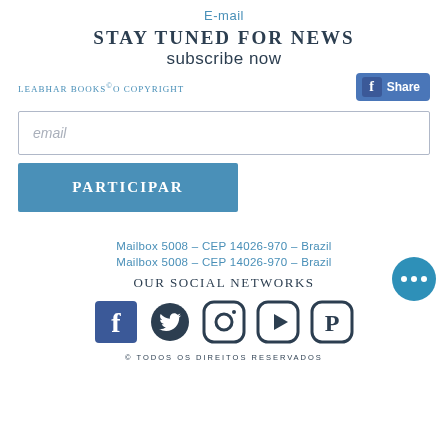E-mail
Stay tuned for news
subscribe now
Leabhar Books©O Copyright
[Figure (other): Facebook Share button]
email (input placeholder)
Participar (button)
Mailbox 5008 – CEP 14026-970 – Brazil
Mailbox 5008 – CEP 14026-970 – Brazil
Our social networks
[Figure (illustration): Social network icons: Facebook, Twitter, Instagram, YouTube, Pinterest]
© TODOS OS DIREITOS RESERVADOS